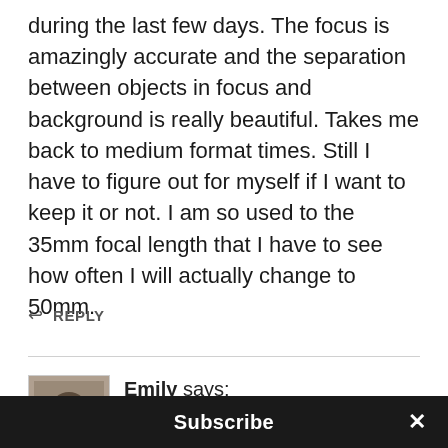during the last few days. The focus is amazingly accurate and the separation between objects in focus and background is really beautiful. Takes me back to medium format times. Still I have to figure out for myself if I want to keep it or not. I am so used to the 35mm focal length that I have to see how often I will actually change to 50mm.
↩ REPLY
Emily says: JUNE 23, 2010 AT 1:25 PM
Cool that your son is a good sport in appeasing all of us who want more, more, more images from these
Subscribe